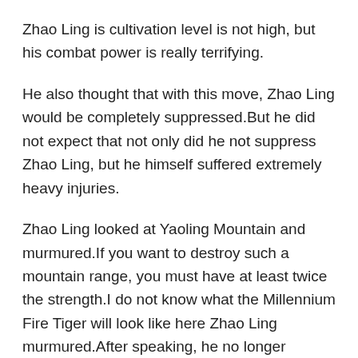Zhao Ling is cultivation level is not high, but his combat power is really terrifying.
He also thought that with this move, Zhao Ling would be completely suppressed.But he did not expect that not only did he not suppress Zhao Ling, but he himself suffered extremely heavy injuries.
Zhao Ling looked at Yaoling Mountain and murmured.If you want to destroy such a mountain range, you must have at least twice the strength.I do not know what the Millennium Fire Tiger will look like here Zhao Ling murmured.After speaking, he no longer hesitated, took a step slowly, and walked in.When he took this step, he entered Yaoling Mountain.Immediately I felt a demonic energy, and the demonic energy here was extremely violent, as if it had experienced a war before.
However, at the moment when these two forces came into